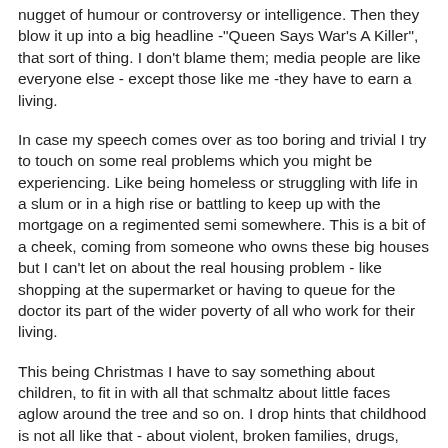nugget of humour or controversy or intelligence. Then they blow it up into a big headline -"Queen Says War's A Killer", that sort of thing. I don't blame them; media people are like everyone else - except those like me -they have to earn a living.
In case my speech comes over as too boring and trivial I try to touch on some real problems which you might be experiencing. Like being homeless or struggling with life in a slum or in a high rise or battling to keep up with the mortgage on a regimented semi somewhere. This is a bit of a cheek, coming from someone who owns these big houses but I can't let on about the real housing problem - like shopping at the supermarket or having to queue for the doctor its part of the wider poverty of all who work for their living.
This being Christmas I have to say something about children, to fit in with all that schmaltz about little faces aglow around the tree and so on. I drop hints that childhood is not all like that - about violent, broken families, drugs, crime, dead-end years in comprehensive schools. It wasn't like that for my children and grandchildren; they had the best of